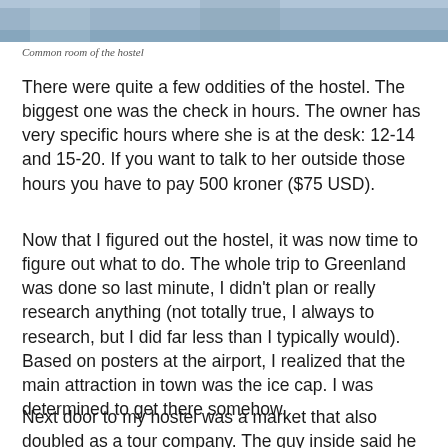[Figure (photo): Partial photo of common room of the hostel, showing the top portion cropped]
Common room of the hostel
There were quite a few oddities of the hostel. The biggest one was the check in hours. The owner has very specific hours where she is at the desk: 12-14 and 15-20. If you want to talk to her outside those hours you have to pay 500 kroner ($75 USD).
Now that I figured out the hostel, it was now time to figure out what to do. The whole trip to Greenland was done so last minute, I didn’t plan or really research anything (not totally true, I always to research, but I did far less than I typically would). Based on posters at the airport, I realized that the main attraction in town was the ice cap. I was determined to get there somehow.
Next door to my hostel was a market that also doubled as a tour company. The guy inside said he would take me for 2400